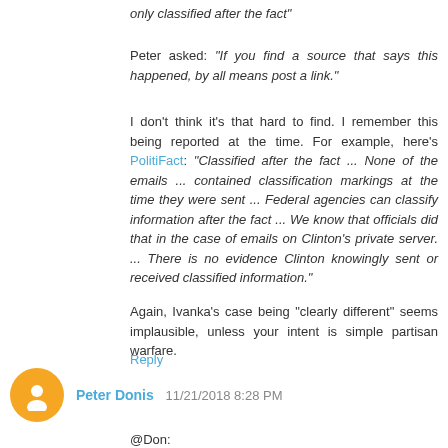only classified after the fact"
Peter asked: "If you find a source that says this happened, by all means post a link."
I don't think it's that hard to find. I remember this being reported at the time. For example, here's PolitiFact: "Classified after the fact ... None of the emails ... contained classification markings at the time they were sent ... Federal agencies can classify information after the fact ... We know that officials did that in the case of emails on Clinton's private server. ... There is no evidence Clinton knowingly sent or received classified information."
Again, Ivanka's case being "clearly different" seems implausible, unless your intent is simple partisan warfare.
Reply
Peter Donis  11/21/2018 8:28 PM
@Don: